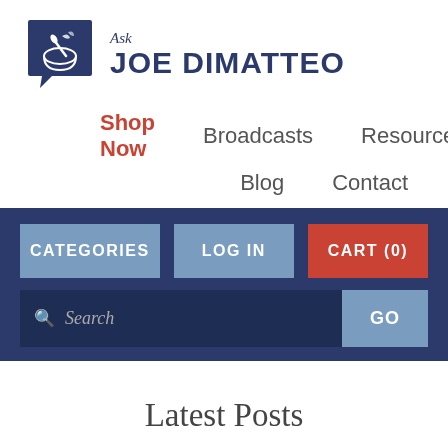[Figure (logo): Ask Joe DiMatteo logo: dark blue speech bubble with mortar and pestle icon, text 'Ask' in italic serif and 'JOE DIMATTEO' in bold sans-serif]
Shop Now   Broadcasts   Resources   Blog   Contact
CATEGORIES
LOG IN
CART (0)
Search   GO
Latest Posts